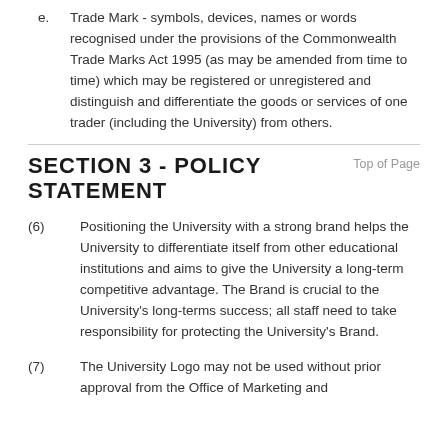e. Trade Mark - symbols, devices, names or words recognised under the provisions of the Commonwealth Trade Marks Act 1995 (as may be amended from time to time) which may be registered or unregistered and distinguish and differentiate the goods or services of one trader (including the University) from others.
SECTION 3 - POLICY STATEMENT
(6) Positioning the University with a strong brand helps the University to differentiate itself from other educational institutions and aims to give the University a long-term competitive advantage. The Brand is crucial to the University's long-terms success; all staff need to take responsibility for protecting the University's Brand.
(7) The University Logo may not be used without prior approval from the Office of Marketing and